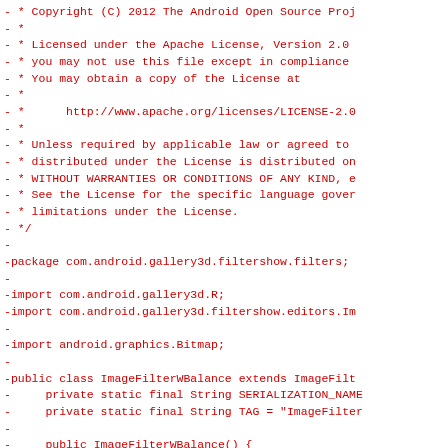- * Copyright (C) 2012 The Android Open Source Proj
- *
- * Licensed under the Apache License, Version 2.0
- * you may not use this file except in compliance
- * You may obtain a copy of the License at
- *
- *      http://www.apache.org/licenses/LICENSE-2.0
- *
- * Unless required by applicable law or agreed to
- * distributed under the License is distributed on
- * WITHOUT WARRANTIES OR CONDITIONS OF ANY KIND, e
- * See the License for the specific language gover
- * limitations under the License.
- */
-
-package com.android.gallery3d.filtershow.filters;
-
-import com.android.gallery3d.R;
-import com.android.gallery3d.filtershow.editors.Im
-
-import android.graphics.Bitmap;
-
-public class ImageFilterWBalance extends ImageFilt
-     private static final String SERIALIZATION_NAME
-     private static final String TAG = "ImageFilter
-
-     public ImageFilterWBalance() {
-         mName = "WBalance";
-     }